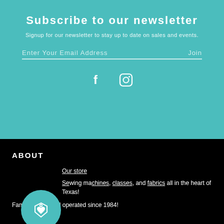Subscribe to our newsletter
Signup for our newsletter to stay up to date on sales and events.
Enter Your Email Address   Join
[Figure (infographic): Facebook and Instagram social media icons in white]
ABOUT
Our store
Sewing machines, classes, and fabrics all in the heart of Texas!
Family owned and operated since 1984!
[Figure (logo): Teal circular badge with a price tag / heart icon]